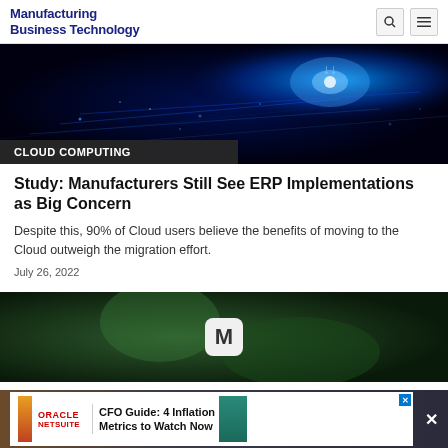Manufacturing Business Technology
[Figure (photo): Dark blue digital network/cloud computing abstract image with glowing light streaks and particles on dark background, with 'CLOUD COMPUTING' category label overlay at bottom left]
CLOUD COMPUTING
Study: Manufacturers Still See ERP Implementations as Big Concern
Despite this, 90% of Cloud users believe the benefits of moving to the Cloud outweigh the migration effort.
July 26, 2022
[Figure (photo): Dark green blurred background with a white rounded square icon showing the letter M in dark color]
[Figure (other): Oracle NetSuite advertisement banner: CFO Guide: 4 Inflation Metrics to Watch Now]